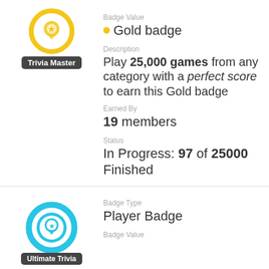[Figure (illustration): Gold circular badge with ribbon icon labeled 'Trivia Master']
Badge Value
• Gold badge
Description
Play 25,000 games from any category with a perfect score to earn this Gold badge
Earned By
19 members
Status
In Progress: 97 of 25000 Finished
[Figure (illustration): Teal circular badge with ribbon icon labeled 'Ultimate Trivia']
Badge Type
Player Badge
Badge Value